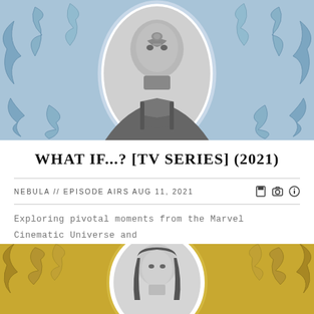[Figure (photo): Nebula character portrait in black and white inside an ornate blue decorative oval frame, What If...? TV series promotional image]
WHAT IF...? [TV SERIES] (2021)
NEBULA // EPISODE AIRS AUG 11, 2021
Exploring pivotal moments from the Marvel Cinematic Universe and turning them on their head, leading the audience into uncharted territory.
[Figure (photo): Second character portrait in black and white inside an ornate gold decorative oval frame, partially visible at bottom of page]